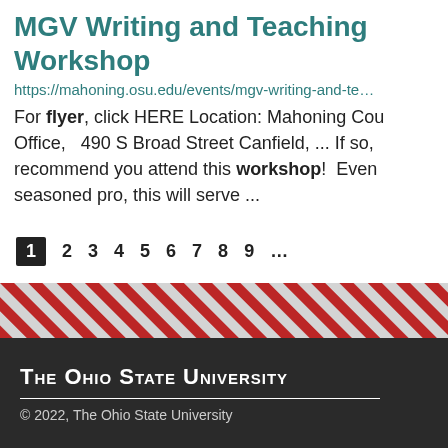MGV Writing and Teaching Workshop
https://mahoning.osu.edu/events/mgv-writing-and-te…
For flyer, click HERE Location: Mahoning County Office, 490 S Broad Street Canfield, ... If so, recommend you attend this workshop! Even seasoned pro, this will serve ...
1 2 3 4 5 6 7 8 9 ...
[Figure (illustration): Diagonal red and grey striped banner pattern]
The Ohio State University
© 2022, The Ohio State University